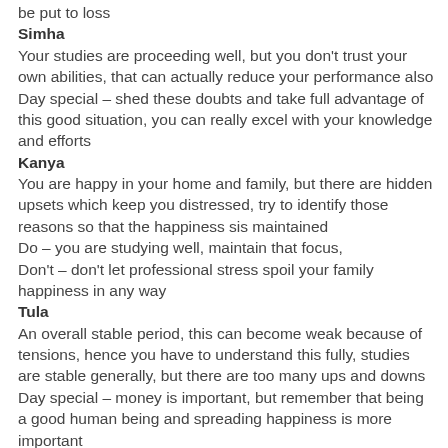be put to loss
Simha
Your studies are proceeding well, but you don't trust your own abilities, that can actually reduce your performance also Day special – shed these doubts and take full advantage of this good situation, you can really excel with your knowledge and efforts
Kanya
You are happy in your home and family, but there are hidden upsets which keep you distressed, try to identify those reasons so that the happiness sis maintained Do – you are studying well, maintain that focus, Don't – don't let professional stress spoil your family happiness in any way
Tula
An overall stable period, this can become weak because of tensions, hence you have to understand this fully, studies are stable generally, but there are too many ups and downs Day special – money is important, but remember that being a good human being and spreading happiness is more important
Vrishchik